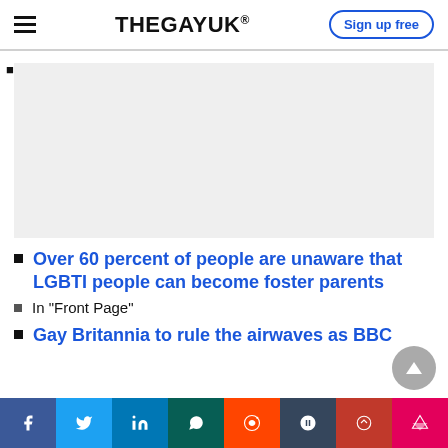THEGAYUK®
[Figure (other): Advertisement placeholder - grey rectangle]
Over 60 percent of people are unaware that LGBTI people can become foster parents
In "Front Page"
Gay Britannia to rule the airwaves as BBC
Social share bar: Facebook, Twitter, LinkedIn, WhatsApp, Reddit, Tumblr, StumbleUpon, Flipboard